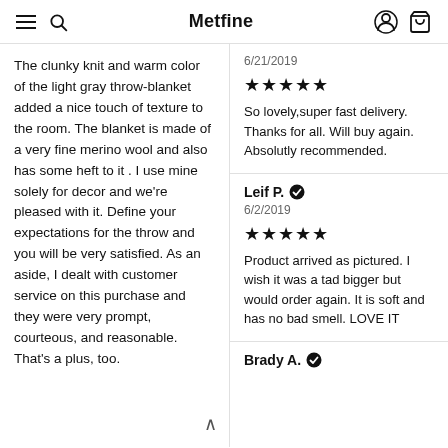Metfine
The clunky knit and warm color of the light gray throw-blanket added a nice touch of texture to the room. The blanket is made of a very fine merino wool and also has some heft to it . I use mine solely for decor and we're pleased with it. Define your expectations for the throw and you will be very satisfied. As an aside, I dealt with customer service on this purchase and they were very prompt, courteous, and reasonable. That's a plus, too.
6/21/2019
★★★★★
So lovely,super fast delivery. Thanks for all. Will buy again. Absolutly recommended.
Leif P. ✔
6/2/2019
★★★★★
Product arrived as pictured. I wish it was a tad bigger but would order again. It is soft and has no bad smell. LOVE IT
Brady A. ✔